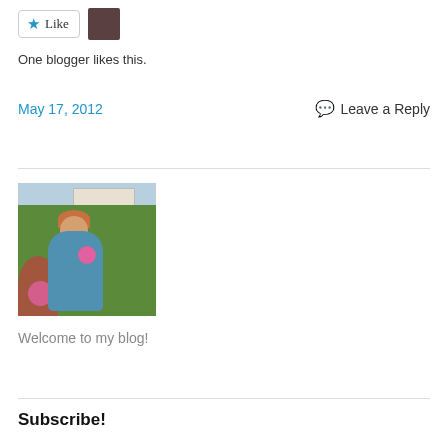[Figure (other): Like button with star icon and small avatar thumbnail photo]
One blogger likes this.
May 17, 2012
Leave a Reply
[Figure (photo): Person sitting outdoors in a garden with colorful flowers, holding a pink flower, with green grass and a house in the background]
Welcome to my blog!
Subscribe!